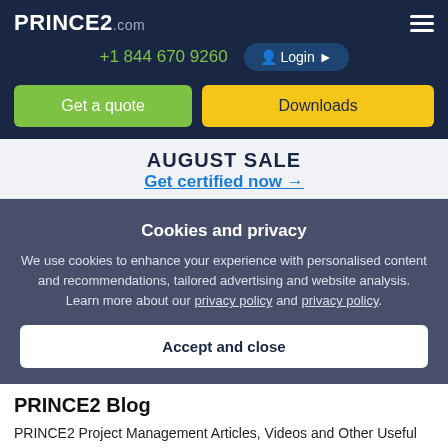PRINCE2.com
+1 844 670 9260
Login
Get a quote
Downloads
AUGUST SALE
Get certified now →
Cookies and privacy
We use cookies to enhance your experience with personalised content and recommendations, tailored advertising and website analysis. Learn more about our privacy policy and privacy policy.
Accept and close
PRINCE2 Blog
PRINCE2 Project Management Articles, Videos and Other Useful Resources. Providing free info, hints & tips, guides and other useful resources to those that use PRINCE2 …